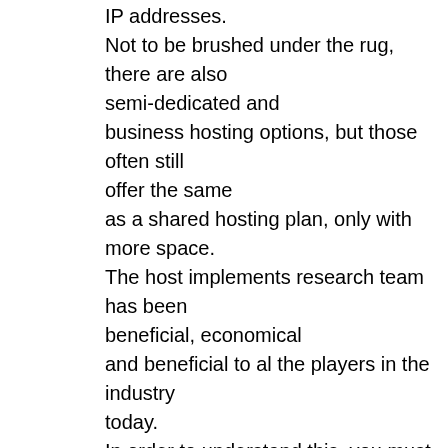IP addresses. Not to be brushed under the rug, there are also semi-dedicated and business hosting options, but those often still offer the same as a shared hosting plan, only with more space. The host implements research team has been beneficial, economical and beneficial to al the players in the industry today. In order to understand this, you must first learn about dedicated and shared hosting. Shared web hosting is the most commonly used web hosting service and also called virtual hosting. The software allows you to create and run small